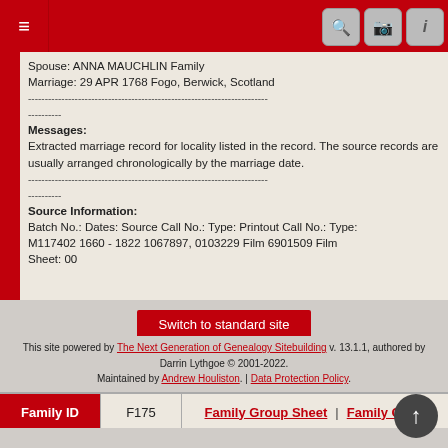≡ [navigation icons]
Spouse: ANNA MAUCHLIN Family
Marriage: 29 APR 1768 Fogo, Berwick, Scotland
--------------------------------------------------------------------------
----------
Messages:
Extracted marriage record for locality listed in the record. The source records are usually arranged chronologically by the marriage date.
--------------------------------------------------------------------------
----------
Source Information:
Batch No.: Dates: Source Call No.: Type: Printout Call No.: Type:
M117402 1660 - 1822 1067897, 0103229 Film 6901509 Film
Sheet: 00
| Family ID | F175 | Family Group Sheet | Family Chart |
| --- | --- | --- |
Switch to standard site
This site powered by The Next Generation of Genealogy Sitebuilding v. 13.1.1, authored by Darrin Lythgoe © 2001-2022.
Maintained by Andrew Houliston. | Data Protection Policy.